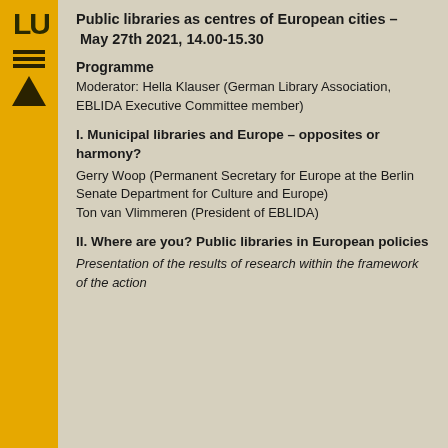Public libraries as centres of European cities – May 27th 2021, 14.00-15.30
Programme
Moderator: Hella Klauser (German Library Association, EBLIDA Executive Committee member)
I. Municipal libraries and Europe – opposites or harmony?
Gerry Woop (Permanent Secretary for Europe at the Berlin Senate Department for Culture and Europe)
Ton van Vlimmeren (President of EBLIDA)
II. Where are you? Public libraries in European policies
Presentation of the results of research within the framework of the action